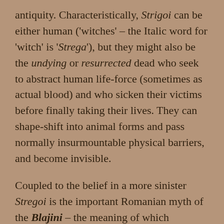antiquity. Characteristically, Strigoi can be either human ('witches' – the Italic word for 'witch' is 'Strega'), but they might also be the undying or resurrected dead who seek to abstract human life-force (sometimes as actual blood) and who sicken their victims before finally taking their lives. They can shape-shift into animal forms and pass normally insurmountable physical barriers, and become invisible.
Coupled to the belief in a more sinister Stregoi is the important Romanian myth of the Blajini – the meaning of which translates almost exactly to that same phrase used in Ireland for fairies: 'Gentle People'. These were spirits supposed to occupy a parallel reflected otherworld which mirrored our own, and at there is still a tradition associated with them, celebrated at Easter, known as Paștele Blajinilor. This festival (often